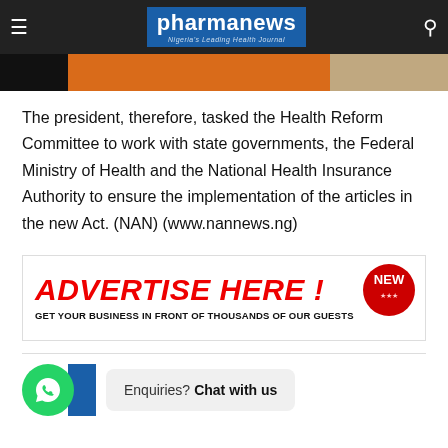pharmanews — Nigeria's Leading Health Journal
[Figure (photo): Banner image with black block, orange strip, and photo of person on right]
The president, therefore, tasked the Health Reform Committee to work with state governments, the Federal Ministry of Health and the National Health Insurance Authority to ensure the implementation of the articles in the new Act. (NAN) (www.nannews.ng)
[Figure (infographic): Advertisement banner: ADVERTISE HERE! GET YOUR BUSINESS IN FRONT OF THOUSANDS OF OUR GUESTS with a red NEW badge]
Enquiries? Chat with us